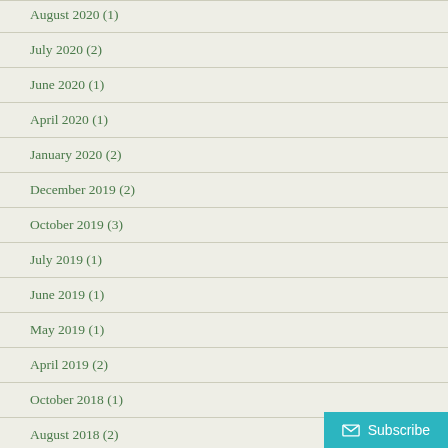August 2020 (1)
July 2020 (2)
June 2020 (1)
April 2020 (1)
January 2020 (2)
December 2019 (2)
October 2019 (3)
July 2019 (1)
June 2019 (1)
May 2019 (1)
April 2019 (2)
October 2018 (1)
August 2018 (2)
July 2018 (1)